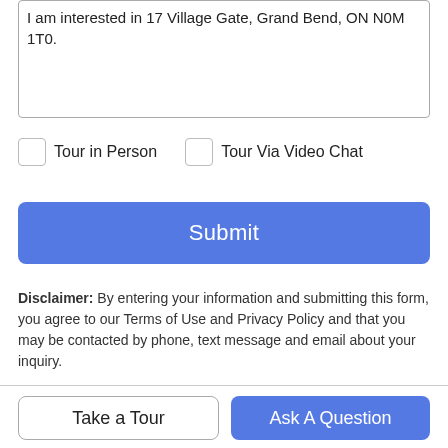I am interested in 17 Village Gate, Grand Bend, ON N0M 1T0.
Tour in Person
Tour Via Video Chat
Submit
Disclaimer: By entering your information and submitting this form, you agree to our Terms of Use and Privacy Policy and that you may be contacted by phone, text message and email about your inquiry.
The data relating to real estate on this web site comes in part from the Internet Data Exchange (IDX) program of the Information
Take a Tour
Ask A Question